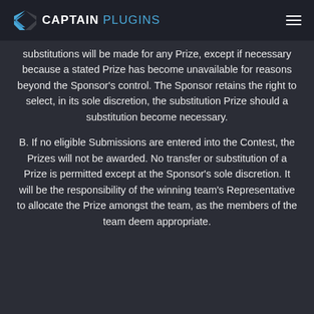CAPTAIN PLUGINS
substitutions will be made for any Prize, except if necessary because a stated Prize has become unavailable for reasons beyond the Sponsor's control. The Sponsor retains the right to select, in its sole discretion, the substitution Prize should a substitution become necessary.
B. If no eligible Submissions are entered into the Contest, the Prizes will not be awarded. No transfer or substitution of a Prize is permitted except at the Sponsor's sole discretion. It will be the responsibility of the winning team's Representative to allocate the Prize amongst the team, as the members of the team deem appropriate.